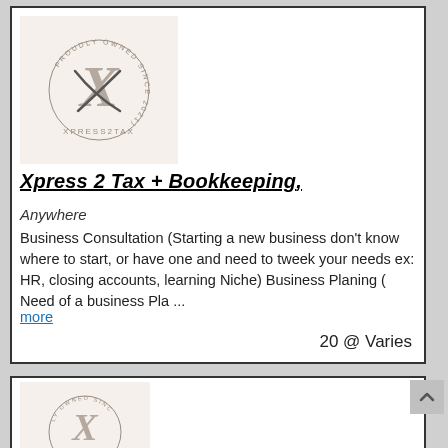[Figure (logo): Xpress2Tax circular logo with 'PROUDLY OWNED SINCE 2021' text around a stylized X, on beige background]
Xpress 2 Tax + Bookkeeping
Anywhere
Business Consultation (Starting a new business don't know where to start, or have one and need to tweek your needs ex: HR, closing accounts, learning Niche) Business Planing ( Need of a business Pla ...
more
20 @ Varies
[Figure (logo): Partial Xpress2Tax logo visible at bottom, same circular design on beige background]